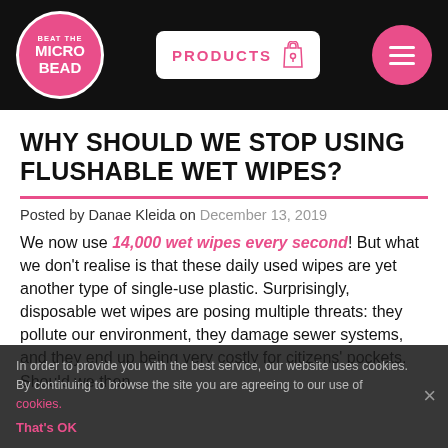BEAT THE MICRO BEAD | PRODUCTS | Menu
WHY SHOULD WE STOP USING FLUSHABLE WET WIPES?
Posted by Danae Kleida on December 13, 2019
We now use 14,000 wet wipes every second! But what we don't realise is that these daily used wipes are yet another type of single-use plastic. Surprisingly, disposable wet wipes are posing multiple threats: they pollute our environment, they damage sewer systems, and they end up being very costly for citizens' pockets. Should we then
In order to provide you with the best service, our website uses cookies. By continuing to browse the site you are agreeing to our use of cookies. That's OK